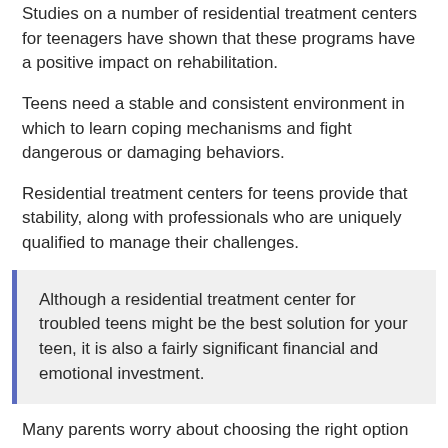Studies on a number of residential treatment centers for teenagers have shown that these programs have a positive impact on rehabilitation.
Teens need a stable and consistent environment in which to learn coping mechanisms and fight dangerous or damaging behaviors.
Residential treatment centers for teens provide that stability, along with professionals who are uniquely qualified to manage their challenges.
Although a residential treatment center for troubled teens might be the best solution for your teen, it is also a fairly significant financial and emotional investment.
Many parents worry about choosing the right option with the vast array of facilities and treatment styles available.